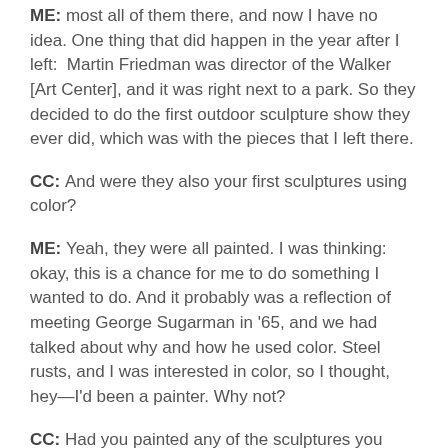ME: most all of them there, and now I have no idea. One thing that did happen in the year after I left: Martin Friedman was director of the Walker [Art Center], and it was right next to a park. So they decided to do the first outdoor sculpture show they ever did, which was with the pieces that I left there.
CC: And were they also your first sculptures using color?
ME: Yeah, they were all painted. I was thinking: okay, this is a chance for me to do something I wanted to do. And it probably was a reflection of meeting George Sugarman in '65, and we had talked about why and how he used color. Steel rusts, and I was interested in color, so I thought, hey—I'd been a painter. Why not?
CC: Had you painted any of the sculptures you made in Los Angeles?
ME: Many of the early larger steel pieces were sprayed with a black lacquer. That was just a way to have a